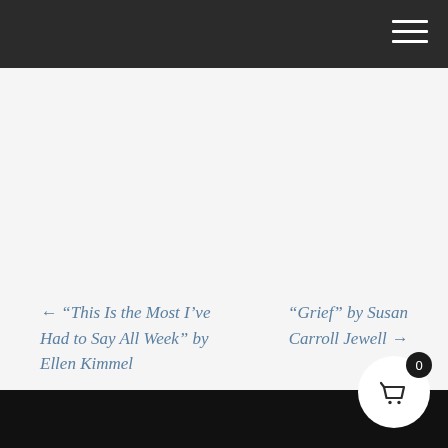Navigation bar with hamburger menu
← “This Is the Most I’ve Had to Say All Week” by Ellen Kimmel
“Grief” by Susan Carroll Jewell →
Footer bar with shopping cart button showing 0 items